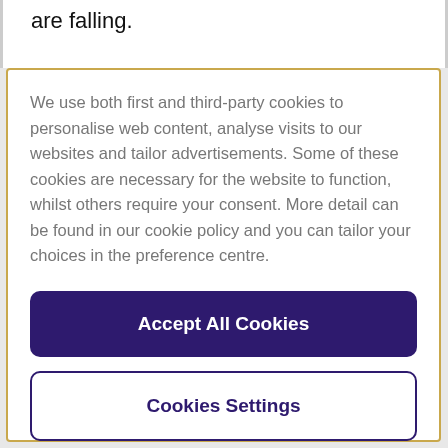are falling.
We use both first and third-party cookies to personalise web content, analyse visits to our websites and tailor advertisements. Some of these cookies are necessary for the website to function, whilst others require your consent. More detail can be found in our cookie policy and you can tailor your choices in the preference centre.
Accept All Cookies
Cookies Settings